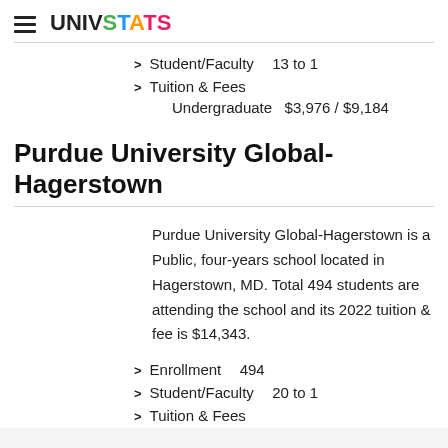UNIVSTATS
Student/Faculty   13 to 1
Tuition & Fees
Undergraduate   $3,976 / $9,184
Purdue University Global-Hagerstown
Purdue University Global-Hagerstown is a Public, four-years school located in Hagerstown, MD. Total 494 students are attending the school and its 2022 tuition & fee is $14,343.
Enrollment   494
Student/Faculty   20 to 1
Tuition & Fees